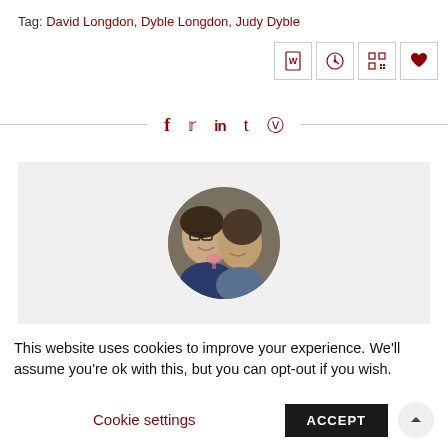Tag: David Longdon, Dyble Longdon, Judy Dyble
[Figure (infographic): Four icon buttons: Word document icon, speedometer/gauge icon, QR code icon, heart icon — arranged in a row]
[Figure (infographic): Social sharing icons row: Facebook (f), Twitter (bird), LinkedIn (in), Tumblr (t), Pinterest (P) — in dark red on white, with horizontal rule divider]
[Figure (photo): Circular profile photo of two people smiling, inside a light grey rectangular box]
This website uses cookies to improve your experience. We'll assume you're ok with this, but you can opt-out if you wish.
Cookie settings
ACCEPT